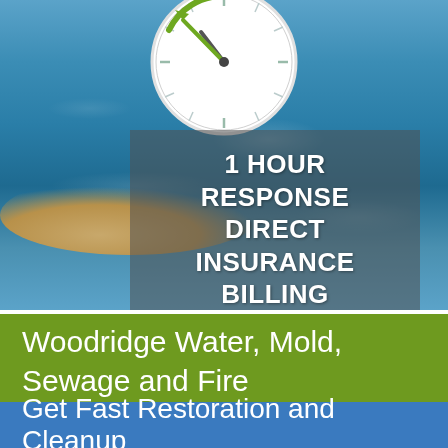[Figure (photo): Photo of flooded room with water on floor and rocks, overlaid with a clock icon and semi-transparent text box reading '1 HOUR RESPONSE DIRECT INSURANCE BILLING']
Woodridge Water, Mold, Sewage and Fire Restoration Experts
Get Fast Restoration and Cleanup